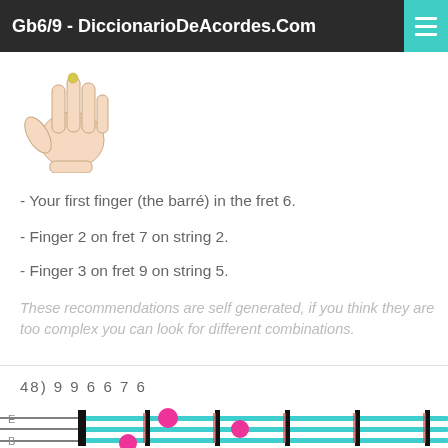Gb6/9 - DiccionarioDeAcordes.Com
[Figure (illustration): Hand diagram showing finger placement for guitar chord]
- Your first finger (the barré) in the fret 6.
- Finger 2 on fret 7 on string 2.
- Finger 3 on fret 9 on string 5.
These recommendations are self generated, if you think they are too complex you can look for different combinations.
48) 9 9 6 6 7 6
[Figure (illustration): Guitar fretboard diagram showing chord Gb6/9 with colored dots indicating finger positions on strings E, B, G]